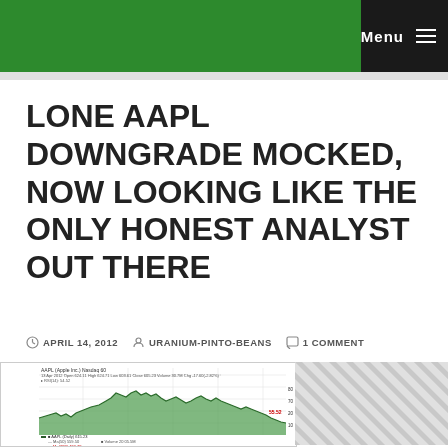Menu
LONE AAPL DOWNGRADE MOCKED, NOW LOOKING LIKE THE ONLY HONEST ANALYST OUT THERE
APRIL 14, 2012  URANIUM-PINTO-BEANS  1 COMMENT
[Figure (continuous-plot): AAPL (Apple Inc.) Nasdaq stock chart showing price movement and volume, with date 13 Apr 2012, Open 624.11 High 624.71 Low 603.61 Close 605.23 Volume 30.7M, RSI(14): 54.52, MA(50) and MA(200) indicators. Left portion shows line/area chart of stock price, right portion shows diagonal striped pattern (partial view).]